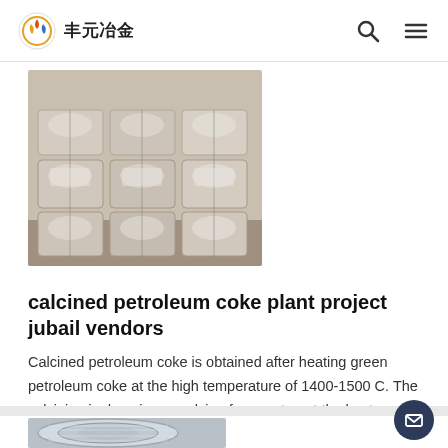丰元冶金 (Fengyuan Metallurgy) logo with search and menu icons
[Figure (photo): Stacked silver-wrapped metal ingots or coke blocks, bundled with packaging material, arranged in rows on a pallet.]
calcined petroleum coke plant project jubail vendors
Calcined petroleum coke is obtained after heating green petroleum coke at the high temperature of 1400-1500 C. The calcining is done in a revolving furnace to get the best result. This coke is impure and is fit only for use as fuel.
[Figure (photo): Coil of silver/metallic wire or rod product partially visible at bottom of page.]